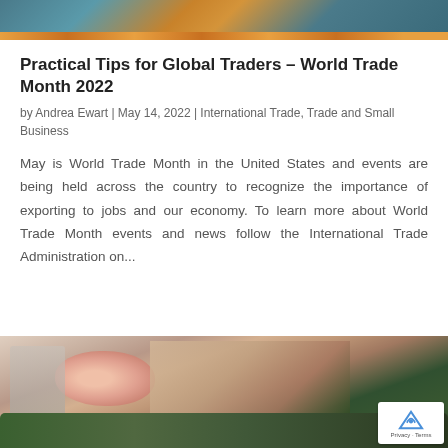[Figure (photo): Top portion of a photo showing shipping containers at a port/harbor]
Practical Tips for Global Traders – World Trade Month 2022
by Andrea Ewart | May 14, 2022 | International Trade, Trade and Small Business
May is World Trade Month in the United States and events are being held across the country to recognize the importance of exporting to jobs and our economy. To learn more about World Trade Month events and news follow the International Trade Administration on...
[Figure (photo): Bottom portion of a photo showing hands arranging flowers, with pink roses and greenery visible]